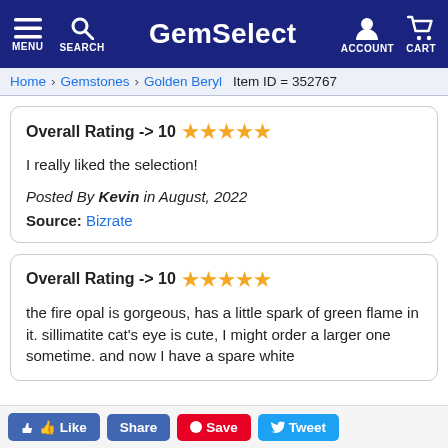GemSelect — MENU SEARCH ACCOUNT CART
Home > Gemstones > Golden Beryl  Item ID = 352767
Overall Rating -> 10 ★★★★★
I really liked the selection!
Posted By Kevin in August, 2022
Source: Bizrate
Overall Rating -> 10 ★★★★★
the fire opal is gorgeous, has a little spark of green flame in it. sillimatite cat's eye is cute, I might order a larger one sometime. and now I have a spare white